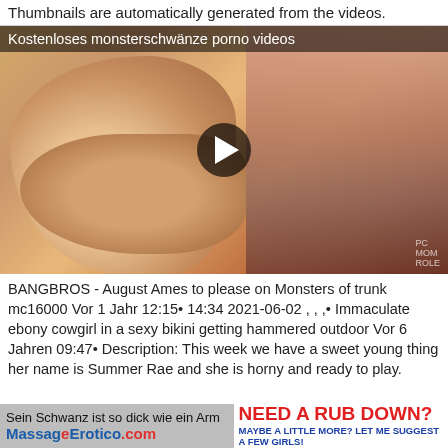Thumbnails are automatically generated from the videos.
[Figure (screenshot): Video thumbnail showing adult content with title 'Kostenloses monsterschwänze porno videos' and a play button overlay]
BANGBROS - August Ames to please on Monsters of trunk mc16000 Vor 1 Jahr 12:15• 14:34 2021-06-02 , , ,• Immaculate ebony cowgirl in a sexy bikini getting hammered outdoor Vor 6 Jahren 09:47• Description: This week we have a sweet young thing her name is Summer Rae and she is horny and ready to play.
Sein Schwanz ist so dick wie ein Arm
MassageErotico.com  NEED A RUB DOWN? MAYBE A LITTLE MORE? LET ME SUGGEST A FEW GIRLS!